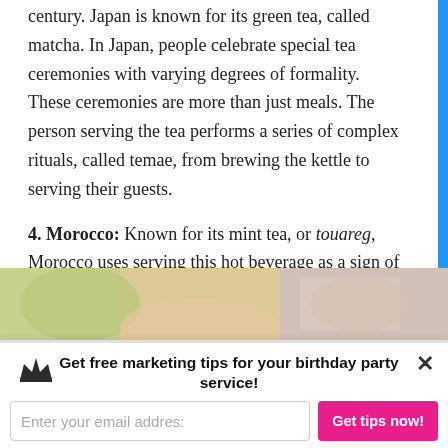century. Japan is known for its green tea, called matcha. In Japan, people celebrate special tea ceremonies with varying degrees of formality. These ceremonies are more than just meals. The person serving the tea performs a series of complex rituals, called temae, from brewing the kettle to serving their guests.
4. Morocco: Known for its mint tea, or touareg, Morocco uses serving this hot beverage as a sign of respect, friendship and hospitality. Served in three phases with varying flavors, the ritual follows this proverb: “The first glass is as life, the second is as strong as love, the third as bitter as death.”
[Figure (photo): Partial photo strip showing what appears to be hands and tea-related items with green and tan tones]
Get free marketing tips for your birthday party service!
Enter your email address
Get tips now!